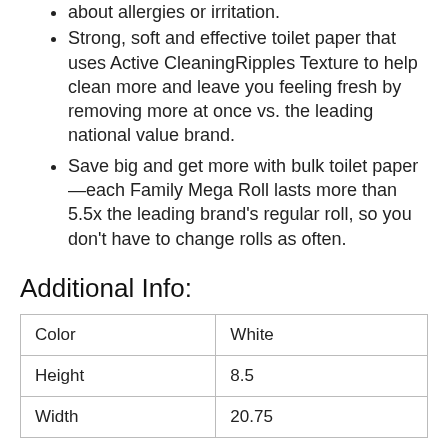about allergies or irritation.
Strong, soft and effective toilet paper that uses Active CleaningRipples Texture to help clean more and leave you feeling fresh by removing more at once vs. the leading national value brand.
Save big and get more with bulk toilet paper—each Family Mega Roll lasts more than 5.5x the leading brand's regular roll, so you don't have to change rolls as often.
Additional Info:
| Color | White |
| --- | --- |
| Height | 8.5 |
| Width | 20.75 |